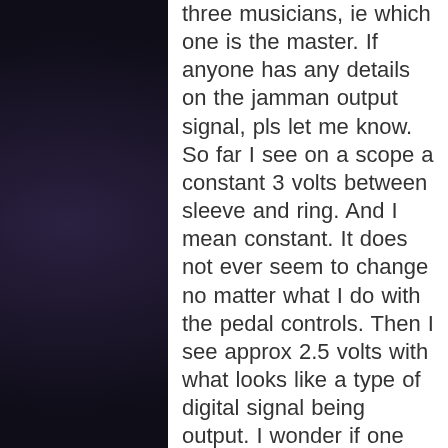three musicians, ie which one is the master. If anyone has any details on the jamman output signal, pls let me know. So far I see on a scope a constant 3 volts between sleeve and ring. And I mean constant. It does not ever seem to change no matter what I do with the pedal controls. Then I see approx 2.5 volts with what looks like a type of digital signal being output. I wonder if one output can drive two XTs (in parallel instead of in series). That would make the switchbox easier to build. Any tips much appreciated. Tks.